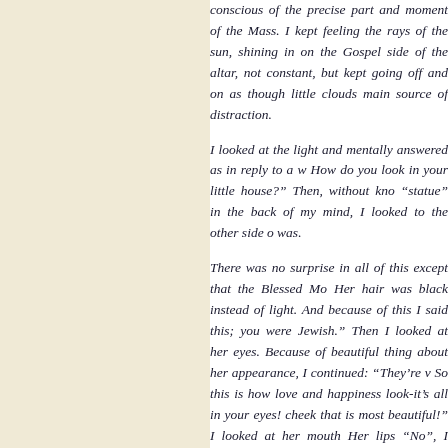conscious of the precise part and moment of the Mass. I kept feeling the rays of the sun, shining in on the Gospel side of the altar, not constant, but kept going off and on as though little clouds main source of distraction.

I looked at the light and mentally answered as in reply to a w How do you look in your little house?" Then, without kno "statue" in the back of my mind, I looked to the other side o was.

There was no surprise in all of this except that the Blessed Mo Her hair was black instead of light. And because of this I said this; you were Jewish." Then I looked at her eyes. Because of beautiful thing about her appearance, I continued: "They're v So this is how love and happiness look-it's all in your eyes! cheek that is most beautiful!" I looked at her mouth Her lips "No", I said, "It's your mouth that is most beautiful." Mary th is your smile that is most beautiful." Mary looked toward th pleased that we came to visit and that Mass is being said in yo pleased. I wish that more could be said about this moment, bu